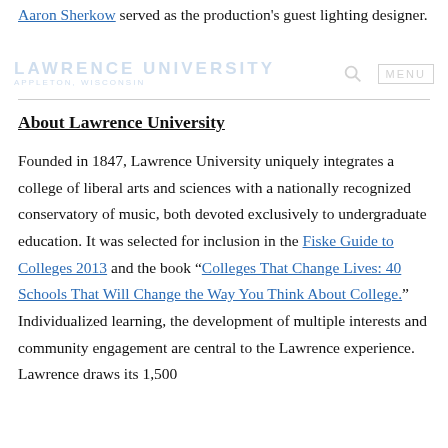Aaron Sherkow served as the production's guest lighting designer.
LAWRENCE UNIVERSITY
APPLETON, WISCONSIN
About Lawrence University
Founded in 1847, Lawrence University uniquely integrates a college of liberal arts and sciences with a nationally recognized conservatory of music, both devoted exclusively to undergraduate education. It was selected for inclusion in the Fiske Guide to Colleges 2013 and the book “Colleges That Change Lives: 40 Schools That Will Change the Way You Think About College.” Individualized learning, the development of multiple interests and community engagement are central to the Lawrence experience. Lawrence draws its 1,500